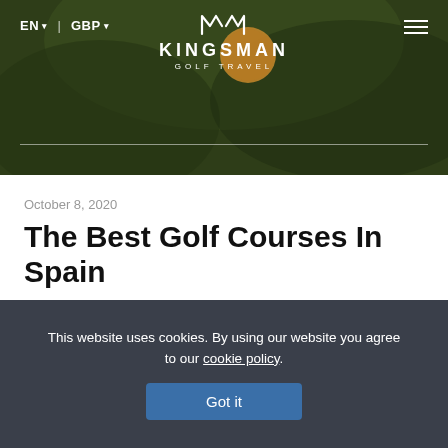[Figure (screenshot): Kingsman Golf Travel website header with dark green background showing a golf ball and crown logo. Navigation shows EN and GBP language/currency selectors on the left, KINGSMAN GOLF TRAVEL logo in center, hamburger menu on right. A horizontal divider line runs across the bottom of the header.]
October 8, 2020
The Best Golf Courses In Spain
Spain is one of the favored destinations for holidaymakers in Europe. And it's not secret
This website uses cookies. By using our website you agree to our cookie policy.
Got it